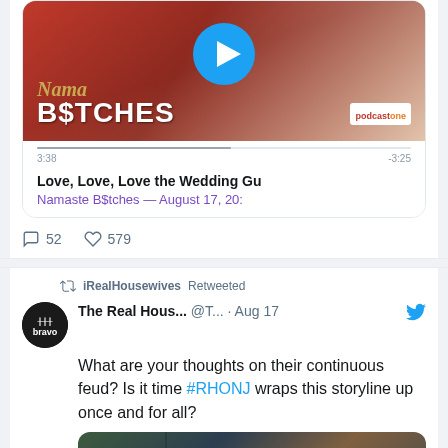[Figure (screenshot): Podcast embed card showing Namaste B$tches podcast with play button, progress bar showing 3:38 / -3:25, title 'Love, Love, Love the Wedding Gu' and subtitle 'Namaste B$tches — August 17, 20:']
52 comment reactions, 579 likes
iRealHousewives Retweeted
The Real Hous... @T... · Aug 17
What are your thoughts on their continuous feud? Is it time #RHONJ wraps this storyline up once and for all?
[Figure (photo): Two women photographed together, partial image at bottom of page]